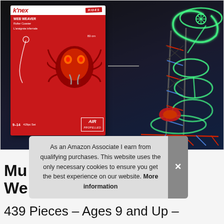[Figure (photo): K'NEX Web Weaver Rides roller coaster building set product photo showing the box and assembled glow-in-the-dark roller coaster tower structure with spider theme. Box is red with K'NEX logo and RIDES badge. Age 9-14, 439 pieces, air propelled.]
As an Amazon Associate I earn from qualifying purchases. This website uses the only necessary cookies to ensure you get the best experience on our website. More information
Mu
We
439 Pieces – Ages 9 and Up –